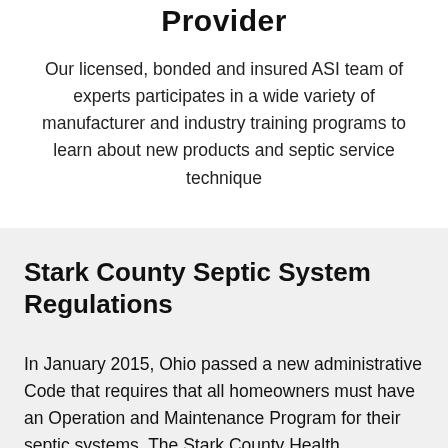Provider
Our licensed, bonded and insured ASI team of experts participates in a wide variety of manufacturer and industry training programs to learn about new products and septic service technique
Stark County Septic System Regulations
In January 2015, Ohio passed a new administrative Code that requires that all homeowners must have an Operation and Maintenance Program for their septic systems. The Stark County Health